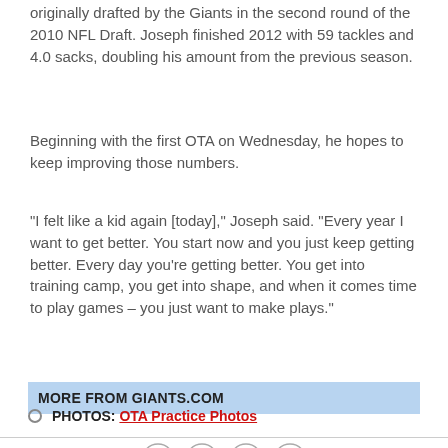originally drafted by the Giants in the second round of the 2010 NFL Draft. Joseph finished 2012 with 59 tackles and 4.0 sacks, doubling his amount from the previous season.
Beginning with the first OTA on Wednesday, he hopes to keep improving those numbers.
"I felt like a kid again [today]," Joseph said. "Every year I want to get better. You start now and you just keep getting better. Every day you're getting better. You get into training camp, you get into shape, and when it comes time to play games – you just want to make plays."
MORE FROM GIANTS.COM
PHOTOS: OTA Practice Photos